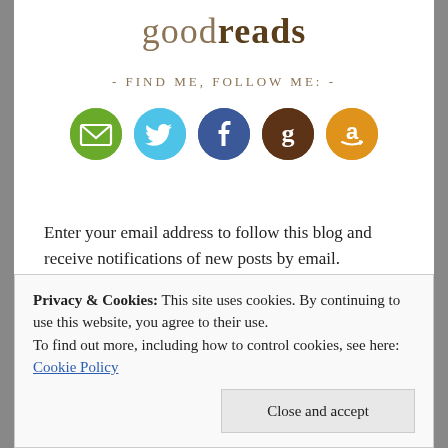goodreads
- FIND ME, FOLLOW ME: -
[Figure (illustration): Five circular social media icons in a row: email (green), Twitter (light blue), Facebook (dark blue), Goodreads (brown), Amazon (gold/orange)]
Enter your email address to follow this blog and receive notifications of new posts by email.
Privacy & Cookies: This site uses cookies. By continuing to use this website, you agree to their use. To find out more, including how to control cookies, see here: Cookie Policy
Close and accept